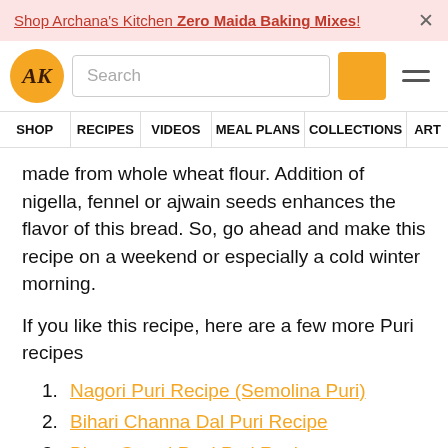Shop Archana's Kitchen Zero Maida Baking Mixes!
[Figure (logo): AK logo circle in orange with stylized AK initials]
made from whole wheat flour. Addition of nigella, fennel or ajwain seeds enhances the flavor of this bread. So, go ahead and make this recipe on a weekend or especially a cold winter morning.
If you like this recipe, here are a few more Puri recipes
Nagori Puri Recipe (Semolina Puri)
Bihari Channa Dal Puri Recipe
Bitter Gourd Peel Puri Recipe